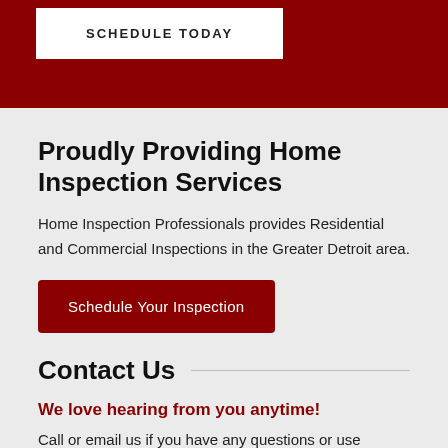SCHEDULE TODAY
Proudly Providing Home Inspection Services
Home Inspection Professionals provides Residential and Commercial Inspections in the Greater Detroit area.
Schedule Your Inspection
Contact Us
We love hearing from you anytime!
Call or email us if you have any questions or use